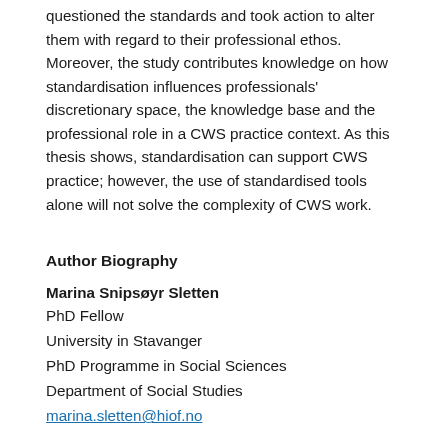questioned the standards and took action to alter them with regard to their professional ethos. Moreover, the study contributes knowledge on how standardisation influences professionals' discretionary space, the knowledge base and the professional role in a CWS practice context. As this thesis shows, standardisation can support CWS practice; however, the use of standardised tools alone will not solve the complexity of CWS work.
Author Biography
Marina Snipsøyr Sletten
PhD Fellow
University in Stavanger
PhD Programme in Social Sciences
Department of Social Studies
marina.sletten@hiof.no